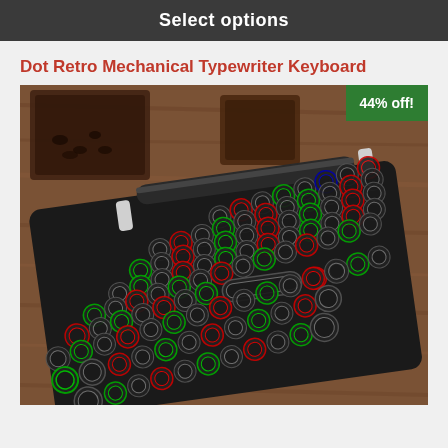Select options
Dot Retro Mechanical Typewriter Keyboard
[Figure (photo): Photo of a Dot Retro Mechanical Typewriter Keyboard with colorful round keys on a wooden surface, with a '44% off!' discount badge in the top-right corner of the image.]